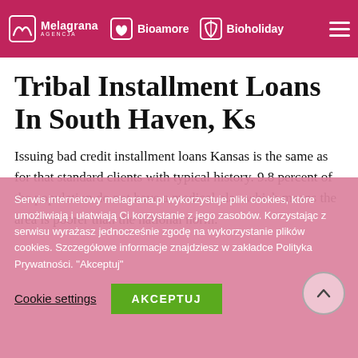Melagrana AGENCJA | Bioamore | Bioholiday
periodic installments or payments over a certain period of time until the loan is paid off.
Tribal Installment Loans In South Haven, Ks
Issuing bad credit installment loans Kansas is the same as for that standard clients with typical history. 9.8 percent of the population do not have a medical plan which means the area is poorer than the national norm.
Serwis internetowy melagrana.pl wykorzystuje pliki cookies, które umożliwiają i ułatwiają Ci korzystanie z jego zasobów. Korzystając z serwisu wyrażasz jednocześnie zgodę na wykorzystanie plików cookies. Szczegółowe informacje znajdziesz w zakładce Polityka Prywatności. "Akceptuj"
Cookie settings | AKCEPTUJ